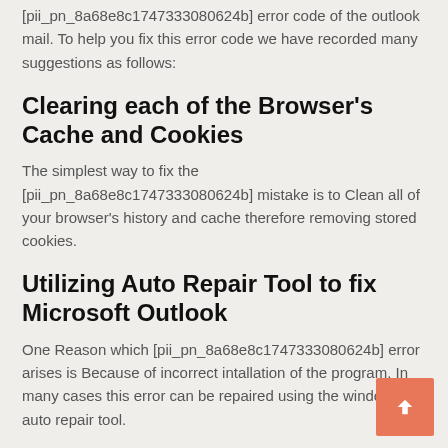[pii_pn_8a68e8c1747333080624b] error code of the outlook mail. To help you fix this error code we have recorded many suggestions as follows:
Clearing each of the Browser's Cache and Cookies
The simplest way to fix the [pii_pn_8a68e8c1747333080624b] mistake is to Clean all of your browser's history and cache therefore removing stored cookies.
Utilizing Auto Repair Tool to fix Microsoft Outlook
One Reason which [pii_pn_8a68e8c1747333080624b] error arises is Because of incorrect intallation of the program. In many cases this error can be repaired using the windows auto repair tool.